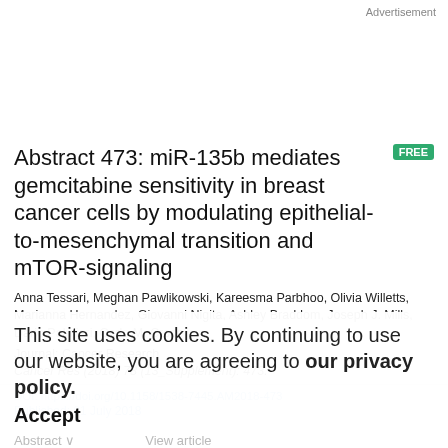Advertisement
Abstract 473: miR-135b mediates gemcitabine sensitivity in breast cancer cells by modulating epithelial-to-mesenchymal transition and mTOR-signaling
Anna Tessari, Meghan Pawlikowski, Kareesma Parbhoo, Olivia Willetts, Marianna Hernandez, Giovanni Nigita, Ashley Braddom, Joseph J. Mills, Dario Palmieri, Carlo M. Croce
Journal: Cancer Research
Cancer Res (2018) 78 (13_Supplement): 473.
DOI: https://doi.org/10.1158/1538-7445.AM2018-473
This site uses cookies. By continuing to use our website, you are agreeing to our privacy policy.
Accept
Abstract   View article